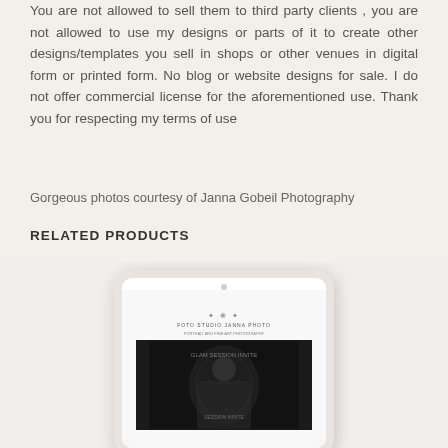You are not allowed to sell them to third party clients , you are not allowed to use my designs or parts of it to create other designs/templates you sell in shops or other venues in digital form or printed form. No blog or website designs for sale. I do not offer commercial license for the aforementioned use. Thank you for respecting my terms of use
Gorgeous photos courtesy of Janna Gobeil Photography
RELATED PRODUCTS
[Figure (screenshot): Tablet device showing a photography studio website or invitation design with a dark image of a child, displayed in grayscale]